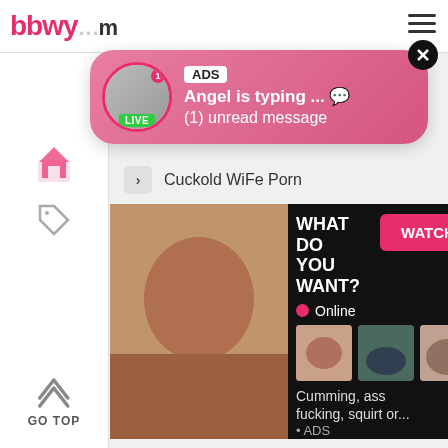bbwy...com
[Figure (screenshot): Notification popup: ADS badge, 'Angel is typing ... 💬', '(1) unread message', LIVE avatar, close button]
Cuckold WiFe Porn
[Figure (screenshot): Ad banner: woman photo on left, right side shows 'WHAT DO YOU WANT?', WATCH button, Online indicator, thumbnails, 'Cumming, ass fucking, squirt or...', ADS label, close X]
Big Tits WiFe
Hotsexvideo
bigtitspub.net